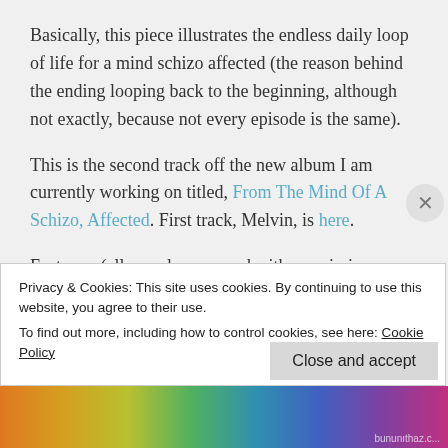Basically, this piece illustrates the endless daily loop of life for a mind schizo affected (the reason behind the ending looping back to the beginning, although not exactly, because not every episode is the same).
This is the second track off the new album I am currently working on titled, From The Mind Of A Schizo, Affected. First track, Melvin, is here.
Features: (all samples are used with permission through CC license or public domain)
Privacy & Cookies: This site uses cookies. By continuing to use this website, you agree to their use. To find out more, including how to control cookies, see here: Cookie Policy
[Figure (illustration): Colorful horizontal banner strip at bottom of page with gradient colors from orange to purple]